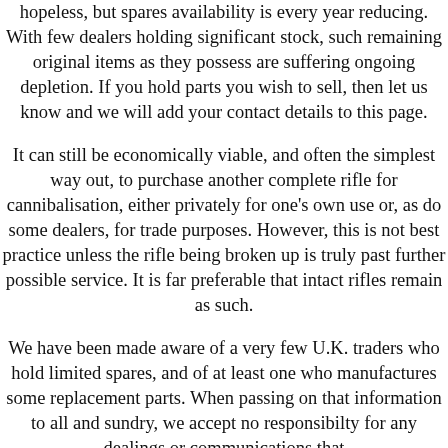hopeless, but spares availability is every year reducing. With few dealers holding significant stock, such remaining original items as they possess are suffering ongoing depletion. If you hold parts you wish to sell, then let us know and we will add your contact details to this page.
It can still be economically viable, and often the simplest way out, to purchase another complete rifle for cannibalisation, either privately for one's own use or, as do some dealers, for trade purposes. However, this is not best practice unless the rifle being broken up is truly past further possible service. It is far preferable that intact rifles remain as such.
We have been made aware of a very few U.K. traders who hold limited spares, and of at least one who manufactures some replacement parts. When passing on that information to all and sundry, we accept no responsibilty for any dealings or communications that